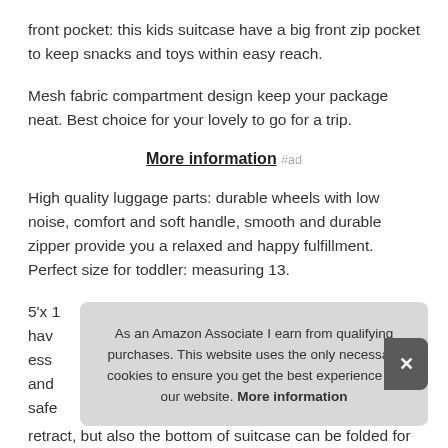front pocket: this kids suitcase have a big front zip pocket to keep snacks and toys within easy reach.
Mesh fabric compartment design keep your package neat. Best choice for your lovely to go for a trip.
More information #ad
High quality luggage parts: durable wheels with low noise, comfort and soft handle, smooth and durable zipper provide you a relaxed and happy fulfillment. Perfect size for toddler: measuring 13.
5'x [partially visible] have [partially visible] ess[ential] and [partially visible] safe[ty]
As an Amazon Associate I earn from qualifying purchases. This website uses the only necessary cookies to ensure you get the best experience on our website. More information
retract, but also the bottom of suitcase can be folded for